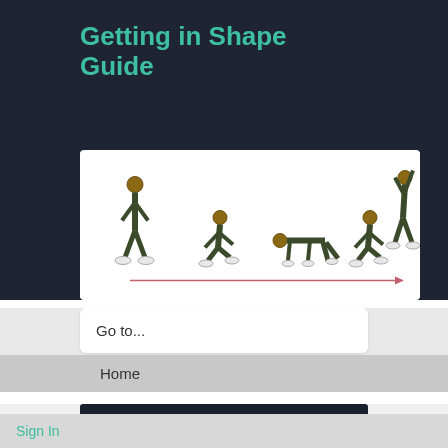Getting in Shape Guide
[Figure (illustration): Sequential illustration of a burpee exercise: person standing, crouching, in push-up position, crouching again, then jumping with arms raised. Arrow pointing right below the figures.]
Go to...
Home
Get In Shape Fast and Stay Fit with the
Sign In